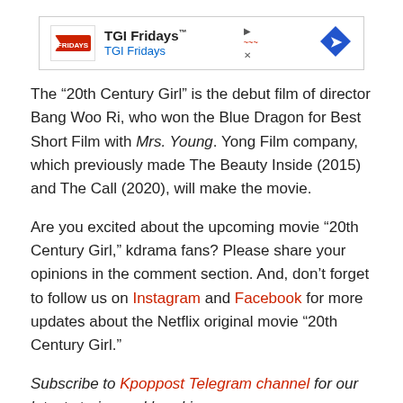[Figure (other): TGI Fridays advertisement banner with logo, brand name, and navigation arrow icon]
The “20th Century Girl” is the debut film of director Bang Woo Ri, who won the Blue Dragon for Best Short Film with Mrs. Young. Yong Film company, which previously made The Beauty Inside (2015) and The Call (2020), will make the movie.
Are you excited about the upcoming movie “20th Century Girl,” kdrama fans? Please share your opinions in the comment section. And, don’t forget to follow us on Instagram and Facebook for more updates about the Netflix original movie “20th Century Girl.”
Subscribe to Kpoppost Telegram channel for our latest stories and breaking news.